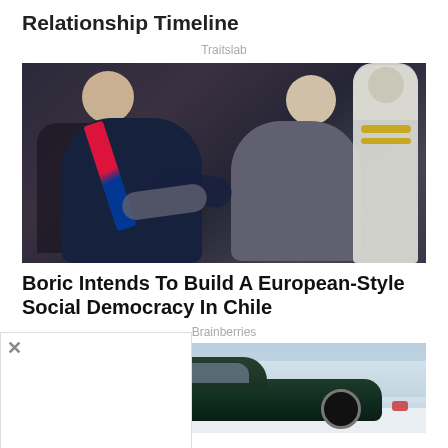Relationship Timeline
Traitslab
[Figure (photo): Two men embracing, one wearing a presidential sash in red and blue, the other an older grey-haired man; a military officer in white uniform visible in background.]
Boric Intends To Build A European-Style Social Democracy In Chile
Brainberries
[Figure (photo): A dark green vintage car parked in a snowy mountain setting.]